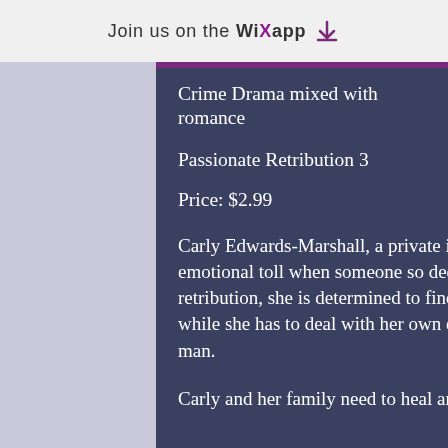Join us on the WiX app
Crime Drama mixed with romance
Passionate Retribution 3
Price: $2.99
Carly Edwards-Marshall, a private investigator in New York City, faces another emotional toll when someone so deeply close to her loses his life. Desperate for retribution, she is determined to find the one responsible for causing death and pain, while she has to deal with her own emotions of pain, grief and attraction for another man.
Carly and her family need to heal and move on with their lives.